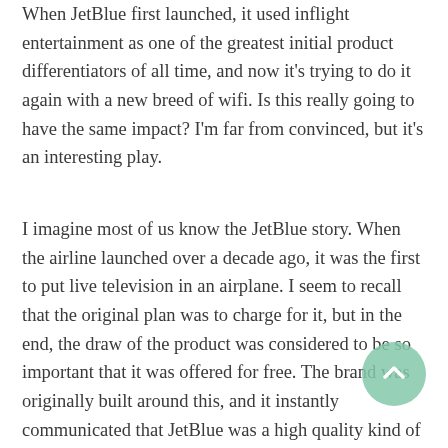When JetBlue first launched, it used inflight entertainment as one of the greatest initial product differentiators of all time, and now it's trying to do it again with a new breed of wifi. Is this really going to have the same impact? I'm far from convinced, but it's an interesting play.
I imagine most of us know the JetBlue story. When the airline launched over a decade ago, it was the first to put live television in an airplane. I seem to recall that the original plan was to charge for it, but in the end, the draw of the product was considered to be so important that it was offered for free. The brand was originally built around this, and it instantly communicated that JetBlue was a high quality kind of low cost carrier. It was a brilliant move.